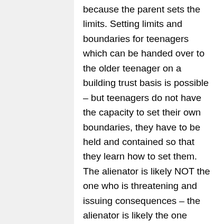because the parent sets the limits. Setting limits and boundaries for teenagers which can be handed over to the older teenager on a building trust basis is possible – but teenagers do not have the capacity to set their own boundaries, they have to be held and contained so that they learn how to set them. The alienator is likely NOT the one who is threatening and issuing consequences – the alienator is likely the one befriending the child and playing best friends with the child, thus enmeshing boundaries and preventing the